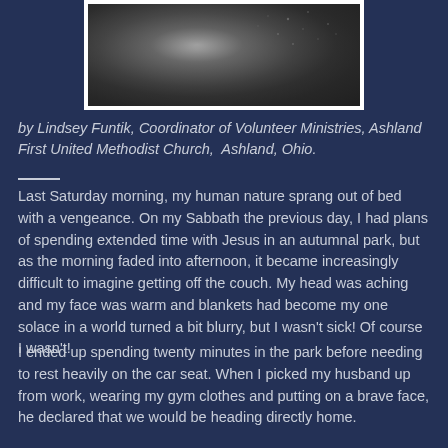[Figure (photo): A dark, grainy black and white photograph, possibly of a night sky or dark landscape with scattered light spots]
by Lindsey Funtik, Coordinator of Volunteer Ministries, Ashland First United Methodist Church,  Ashland, Ohio.
Last Saturday morning, my human nature sprang out of bed with a vengeance. On my Sabbath the previous day, I had plans of spending extended time with Jesus in an autumnal park, but as the morning faded into afternoon, it became increasingly difficult to imagine getting off the couch. My head was aching and my face was warm and blankets had become my one solace in a world turned a bit blurry, but I wasn't sick! Of course I wasn't!
I ended up spending twenty minutes in the park before needing to rest heavily on the car seat. When I picked my husband up from work, wearing my gym clothes and putting on a brave face, he declared that we would be heading directly home.